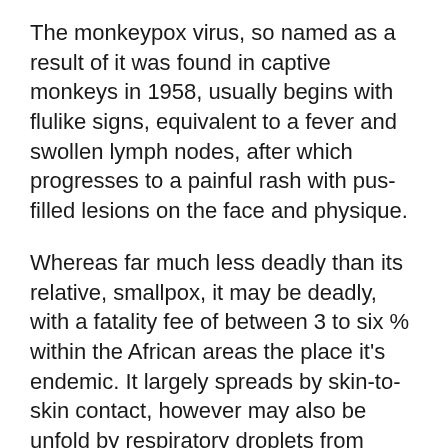The monkeypox virus, so named as a result of it was found in captive monkeys in 1958, usually begins with flulike signs, equivalent to a fever and swollen lymph nodes, after which progresses to a painful rash with pus-filled lesions on the face and physique.
Whereas far much less deadly than its relative, smallpox, it may be deadly, with a fatality fee of between 3 to six % within the African areas the place it's endemic. It largely spreads by skin-to-skin contact, however may also be unfold by respiratory droplets from extended shut contact or contact with shared objects like towels.
What to Know In